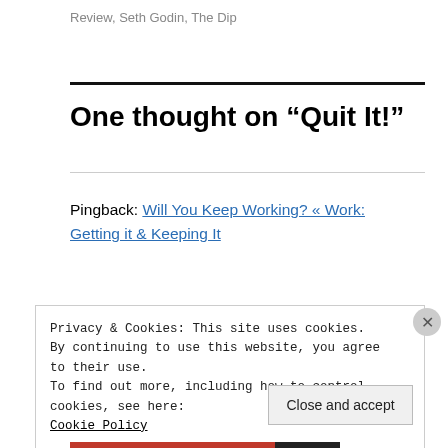Review, Seth Godin, The Dip
One thought on “Quit It!”
Pingback: Will You Keep Working? « Work: Getting it & Keeping It
Privacy & Cookies: This site uses cookies. By continuing to use this website, you agree to their use.
To find out more, including how to control cookies, see here:
Cookie Policy
Close and accept